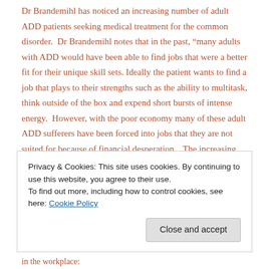Dr Brandemihl has noticed an increasing number of adult ADD patients seeking medical treatment for the common disorder. Dr Brandemihl notes that in the past, "many adults with ADD would have been able to find jobs that were a better fit for their unique skill sets. Ideally the patient wants to find a job that plays to their strengths such as the ability to multitask, think outside of the box and expend short bursts of intense energy. However, with the poor economy many of these adult ADD sufferers have been forced into jobs that they are not suited for because of financial desperation. The increasing job stress can lead to unhappiness, depression, anxiety, worsening productivity and ultimately, termination from the job."
Dr Brandemihl says that the first step in treatment is "getting diagnosed by a
Privacy & Cookies: This site uses cookies. By continuing to use this website, you agree to their use. To find out more, including how to control cookies, see here: Cookie Policy
in the workplace: